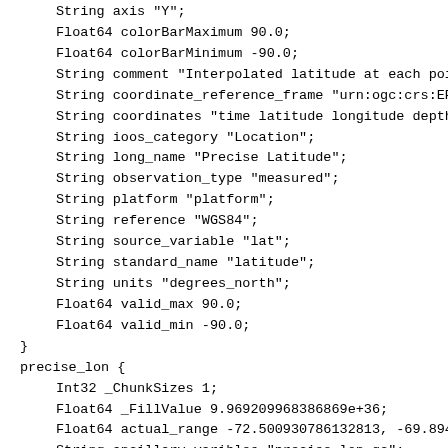String axis "Y";
    Float64 colorBarMaximum 90.0;
    Float64 colorBarMinimum -90.0;
    String comment "Interpolated latitude at each poin
    String coordinate_reference_frame "urn:ogc:crs:EPS
    String coordinates "time latitude longitude depth"
    String ioos_category "Location";
    String long_name "Precise Latitude";
    String observation_type "measured";
    String platform "platform";
    String reference "WGS84";
    String source_variable "lat";
    String standard_name "latitude";
    String units "degrees_north";
    Float64 valid_max 90.0;
    Float64 valid_min -90.0;
  }
  precise_lon {
    Int32 _ChunkSizes 1;
    Float64 _FillValue 9.969209968386869e+36;
    Float64 actual_range -72.500930786132813, -69.89425
    String ancillary_varibles "precise_lon_qc";
    String axis "X";
    Float64 colorBarMaximum 180.0;
    Float64 colorBarMinimum -180.0;
    String comment "Interpolated longitude at each poi